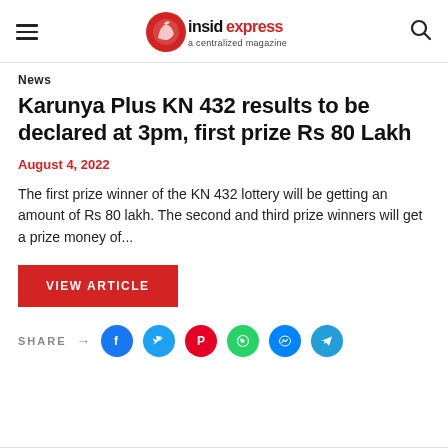insidexpress — a centralized magazine
News
Karunya Plus KN 432 results to be declared at 3pm, first prize Rs 80 Lakh
August 4, 2022
The first prize winner of the KN 432 lottery will be getting an amount of Rs 80 lakh. The second and third prize winners will get a prize money of...
VIEW ARTICLE
SHARE